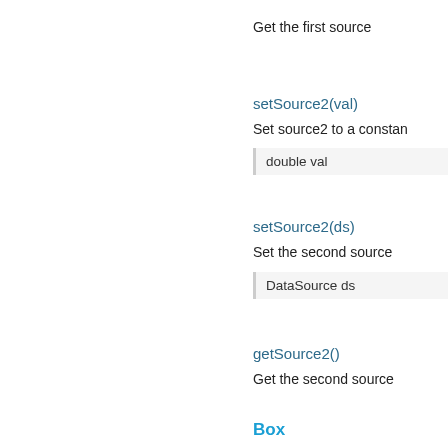Get the first source
setSource2(val)
Set source2 to a constant
| double val |
| --- |
setSource2(ds)
Set the second source
| DataSource ds |
| --- |
getSource2()
Get the second source
Box